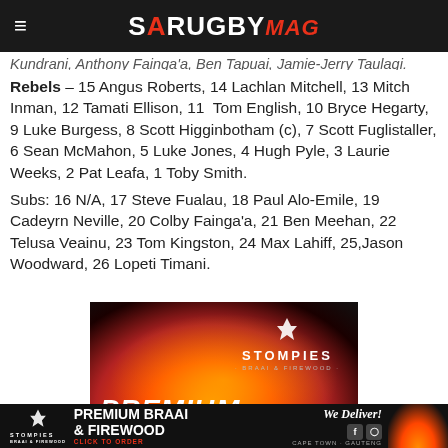SA Rugby Mag
Kundrani, Anthony Fainga'a, Ben Tapuai, Jamie-Jerry Taulagi.
Rebels – 15 Angus Roberts, 14 Lachlan Mitchell, 13 Mitch Inman, 12 Tamati Ellison, 11 Tom English, 10 Bryce Hegarty, 9 Luke Burgess, 8 Scott Higginbotham (c), 7 Scott Fuglistaller, 6 Sean McMahon, 5 Luke Jones, 4 Hugh Pyle, 3 Laurie Weeks, 2 Pat Leafa, 1 Toby Smith.
Subs: 16 N/A, 17 Steve Fualau, 18 Paul Alo-Emile, 19 Cadeyrn Neville, 20 Colby Fainga'a, 21 Ben Meehan, 22 Telusa Veainu, 23 Tom Kingston, 24 Max Lahiff, 25,Jason Woodward, 26 Lopeti Timani.
[Figure (photo): Stompies Premium Braai & Firewood advertisement showing flames and fire with Stompies logo and text 'PREMIUM' overlay]
[Figure (photo): Stompies bottom banner ad: Premium Braai & Firewood, We Deliver!, Cape Town & Gauteng, social media icons, Click to Order]